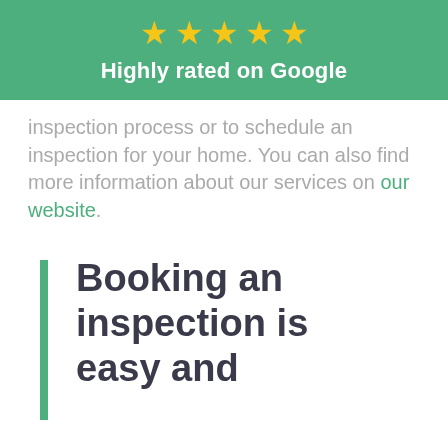[Figure (infographic): Five gold stars above text 'Highly rated on Google' on a green banner background]
inspection process or to schedule an inspection for your home. You can also find more information about our services on our website.
Booking an inspection is easy and